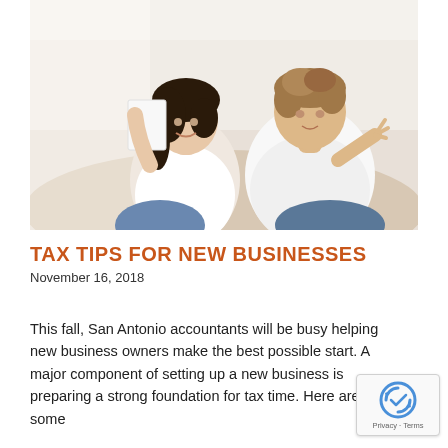[Figure (photo): Two young adults, a woman and a man, sitting on a couch. The woman has dark hair and is smiling while holding a document/paper. The man has light brown hair and is gesturing with his hand, appearing to explain something. Both are dressed casually in white tops and jeans.]
TAX TIPS FOR NEW BUSINESSES
November 16, 2018
This fall, San Antonio accountants will be busy helping new business owners make the best possible start. A major component of setting up a new business is preparing a strong foundation for tax time. Here are some